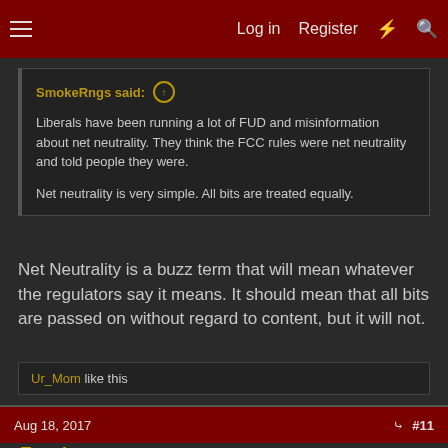Log in  Register
SmokeRngs said: ↑
Liberals have been running a lot of FUD and misinformation about net neutrality. They think the FCC rules were net neutrality and told people they were.

Net neutrality is very simple. All bits are treated equally.
Net Neutrality is a buzz term that will mean whatever the regulators say it means. It should mean that all bits are passed on without regard to content, but it will not.
Ur_Mom like this
Aug 18, 2017  #11
Exavior
[H]F Junkie